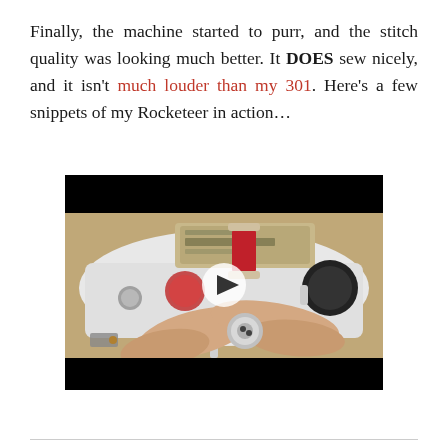Finally, the machine started to purr, and the stitch quality was looking much better. It DOES sew nicely, and it isn't much louder than my 301. Here's a few snippets of my Rocketeer in action...
[Figure (photo): Video thumbnail/screenshot showing a sewing machine (Rocketeer) in action, with hands holding a bobbin case near the machine. A red thread spool is visible. A play button overlay is centered on the video frame. The video has black letterbox bars at top and bottom.]